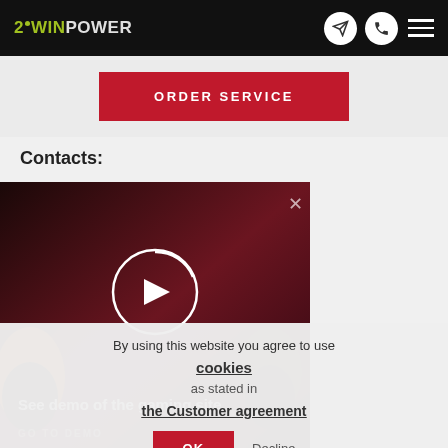2WINPOWER [logo with navigation icons and hamburger menu]
ORDER SERVICE
Contacts:
[Figure (screenshot): Video popup overlay showing 'See demo of the gaming site' with play button, close X, and GO TO DEMO link. Casino characters visible on left and right sides.]
By using this website you agree to use cookies as stated in the Customer agreement
OK  Decline